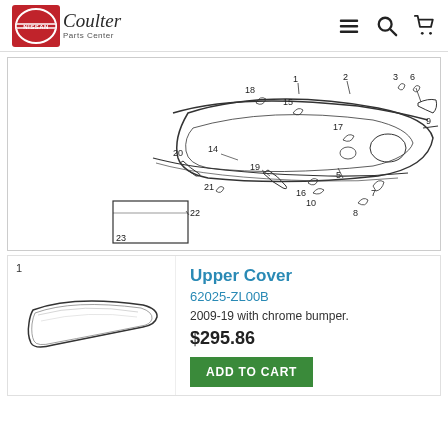Nissan Coulter Parts Center
[Figure (engineering-diagram): Exploded parts diagram of a Nissan front bumper assembly with numbered callouts 1-23 identifying individual components including upper cover, brackets, clips, bolts, and license plate holder.]
1
[Figure (illustration): Product image of Nissan Upper Cover part 62025-ZL00B, showing a curved chrome front bumper upper cover strip.]
Upper Cover
62025-ZL00B
2009-19 with chrome bumper.
$295.86
ADD TO CART